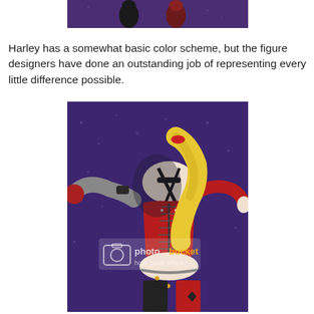[Figure (photo): Partial top image of two small dark/red accessory pieces against a purple background, cropped at top of page]
Harley has a somewhat basic color scheme, but the figure designers have done an outstanding job of representing every little difference possible.
[Figure (photo): Action figure of Harley Quinn from behind, showing red and black corset outfit, blonde ponytail, grey arm extended outward, diamond symbol on leg, chains/beads at waist, against a purple speckled background. Photobucket watermark visible.]